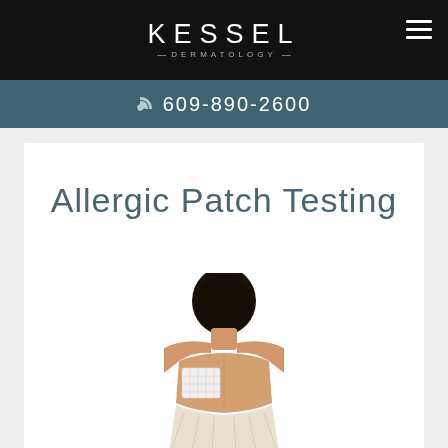KESSEL DERMATOLOGY
609-890-2600
Allergic Patch Testing
[Figure (photo): Person viewed from behind showing upper back with white medical patch applied, for allergic patch testing demonstration]